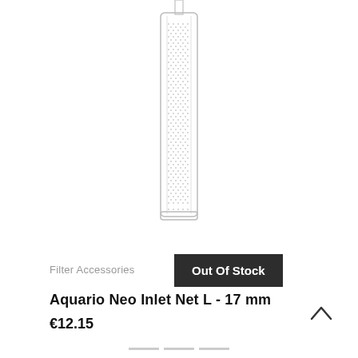[Figure (photo): Aquario Neo Inlet Net L 17mm product photo - a clear cylindrical glass/acrylic tube with a dotted mesh pattern, photographed on white background, partially cropped at top]
Filter Accessories
Out Of Stock
Aquario Neo Inlet Net L - 17 mm
€12.15